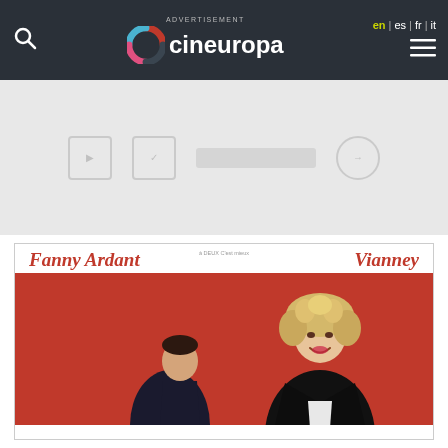cineuropa — en | es | fr | it
[Figure (screenshot): Advertisement banner area (blank/placeholder)]
[Figure (photo): Movie poster featuring Fanny Ardant and Vianney with red background, two people posing — a man in dark clothing on the left and a woman with curly blonde hair in black leather jacket on the right]
Fanny Ardant   Vianney